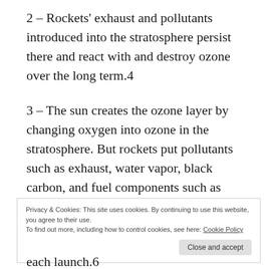2 – Rockets' exhaust and pollutants introduced into the stratosphere persist there and react with and destroy ozone over the long term.4
3 – The sun creates the ozone layer by changing oxygen into ozone in the stratosphere. But rockets put pollutants such as exhaust, water vapor, black carbon, and fuel components such as alumina into the stratosphere, blocking the sun's rays. This reduces the sun's creation of ozone, reducing ozone layer repair and
Privacy & Cookies: This site uses cookies. By continuing to use this website, you agree to their use. To find out more, including how to control cookies, see here: Cookie Policy
each launch.6